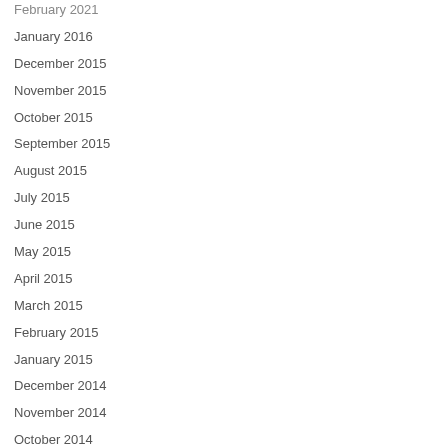February 2021 (partial, cut off at top)
January 2016
December 2015
November 2015
October 2015
September 2015
August 2015
July 2015
June 2015
May 2015
April 2015
March 2015
February 2015
January 2015
December 2014
November 2014
October 2014 (partial, cut off at bottom)